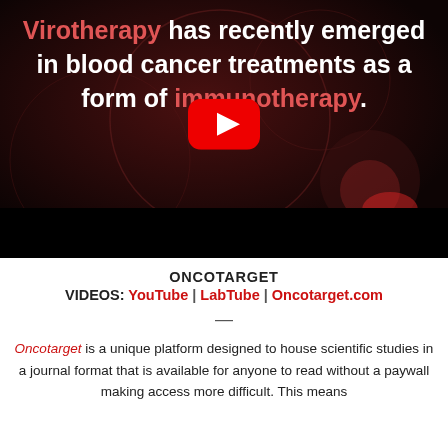[Figure (screenshot): YouTube video thumbnail showing text 'Virotherapy has recently emerged in blood cancer treatments as a form of immunotherapy.' overlaid on a dark red microscopic background, with a YouTube play button in the center and a black bar at the bottom.]
ONCOTARGET
VIDEOS: YouTube | LabTube | Oncotarget.com
—
Oncotarget is a unique platform designed to house scientific studies in a journal format that is available for anyone to read without a paywall making access more difficult. This means